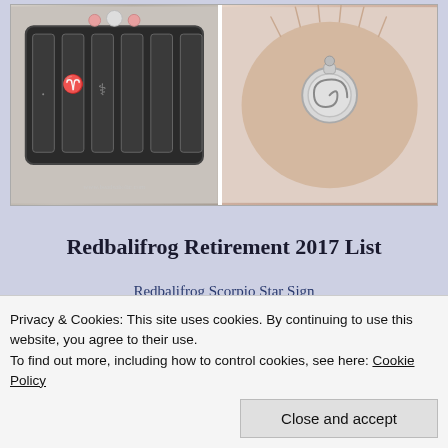[Figure (photo): Two jewelry/bead images side by side: left shows decorative beads with rune-like markings and a website watermark 'www.beadsaholic.com', right shows a fluffy animal figure with a spiral charm pendant]
Redbalfrog Retirement 2017 List
Redbalifrog Scorpio Star Sign
Redbalifrog Sagittarius Star Sign
Redbalifrog Pisces Star Sign
Redbalifrog Cancer Star Sign
Privacy & Cookies: This site uses cookies. By continuing to use this website, you agree to their use.
To find out more, including how to control cookies, see here: Cookie Policy
Redbalifrog Capricorn Star Sign